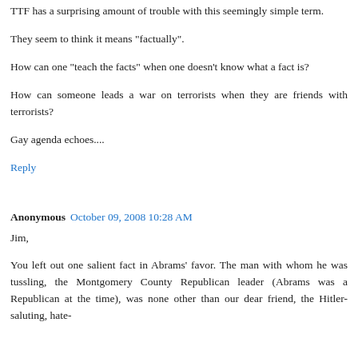TTF has a surprising amount of trouble with this seemingly simple term.
They seem to think it means "factually".
How can one "teach the facts" when one doesn't know what a fact is?
How can someone leads a war on terrorists when they are friends with terrorists?
Gay agenda echoes....
Reply
Anonymous  October 09, 2008 10:28 AM
Jim,
You left out one salient fact in Abrams' favor. The man with whom he was tussling, the Montgomery County Republican leader (Abrams was a Republican at the time), was none other than our dear friend, the Hitler-saluting, hate-